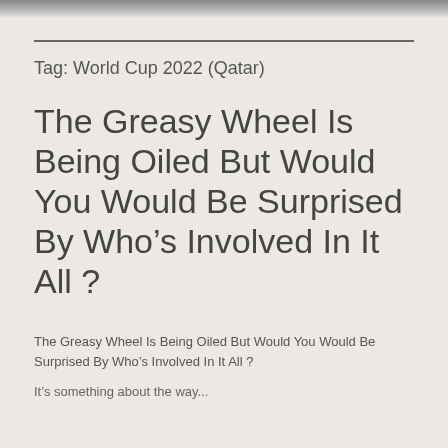[Figure (photo): Partial image strip at top of page, showing a grayscale photo cropped at the bottom]
Tag: World Cup 2022 (Qatar)
The Greasy Wheel Is Being Oiled But Would You Would Be Surprised By Who’s Involved In It All ?
The Greasy Wheel Is Being Oiled But Would You Would Be Surprised By Who’s Involved In It All ?
It’s something about the way...